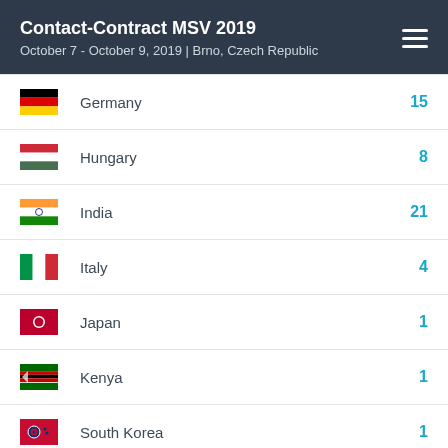Contact-Contract MSV 2019
October 7 - October 9, 2019 | Brno, Czech Republic
Germany 15
Hungary 8
India 21
Italy 4
Japan 1
Kenya 1
South Korea 1
Lithuania 3